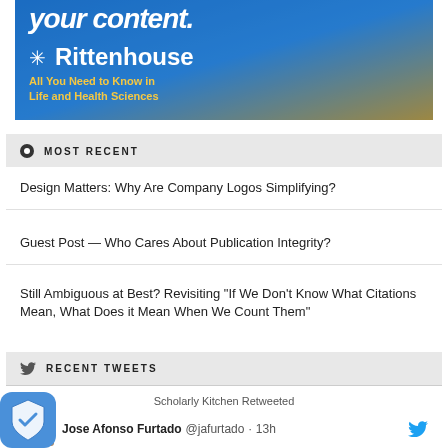[Figure (logo): Rittenhouse banner advertisement with blue/gold gradient background showing 'your content.' in bold italic white, Rittenhouse logo with snowflake icon, and tagline 'All You Need to Know in Life and Health Sciences' in gold]
MOST RECENT
Design Matters: Why Are Company Logos Simplifying?
Guest Post — Who Cares About Publication Integrity?
Still Ambiguous at Best? Revisiting "If We Don't Know What Citations Mean, What Does it Mean When We Count Them"
RECENT TWEETS
Scholarly Kitchen Retweeted
Jose Afonso Furtado @jafurtado · 13h